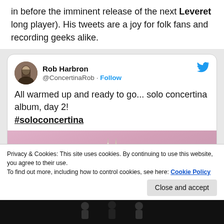in before the imminent release of the next Leveret long player). His tweets are a joy for folk fans and recording geeks alike.
[Figure (screenshot): Embedded tweet from Rob Harbron (@ConcertinaRob) with Follow button and Twitter bird logo. Tweet text: 'All warmed up and ready to go... solo concertina album, day 2! #soloconcertina'. Includes partial image of champagne glasses against pink background.]
Privacy & Cookies: This site uses cookies. By continuing to use this website, you agree to their use.
To find out more, including how to control cookies, see here: Cookie Policy
Close and accept